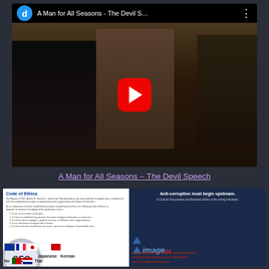[Figure (screenshot): YouTube video thumbnail showing 'A Man for All Seasons - The Devil S...' with a play button overlay. Scene shows a man in medieval robes with a gold chain, flanked by figures in dark clothing.]
A Man for All Seasons – The Devil Speech
[Figure (screenshot): Composite image showing: a Code of Ethics document on the left with flags for UK, France, Japan, Korea, Norway, Portugal, Thailand, and a SEO logo overlay with language labels (Japanese, Korean, Norwegian, Thai, Portuguese); on the right, an anti-corruption image with text 'Anti-corruption must begin upstream.' and 'The International Meeting for' with image22 logo and red text about legal obligation to enforce Confidentiality terms.]